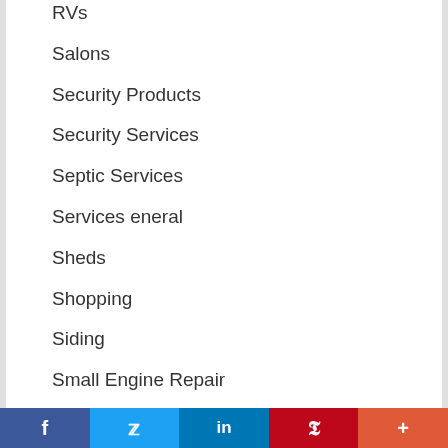RVs
Salons
Security Products
Security Services
Septic Services
Services eneral
Sheds
Shopping
Siding
Small Engine Repair
Snow Removal
Social Media Services
Special Events
Specialty Products
[Figure (infographic): Social media sharing bar with Facebook, Twitter, LinkedIn, Pinterest, and More (+) buttons]